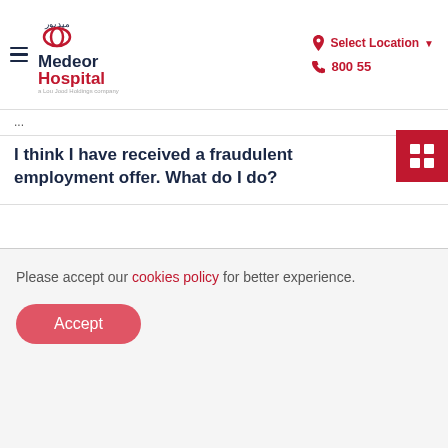Medeor Hospital — Select Location | 800 55
I think I have received a fraudulent employment offer. What do I do?
What is the interview process?
When can I expect feedback on my CV?
Please accept our cookies policy for better experience.
Accept